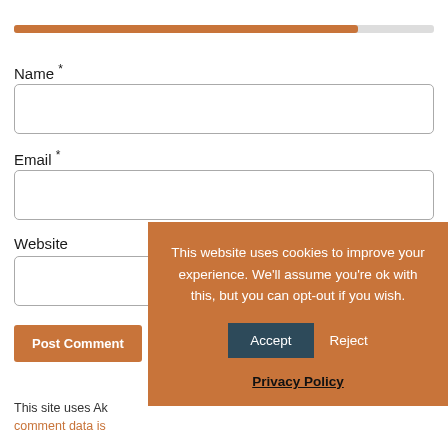[Figure (other): Progress bar, approximately 82% filled in brown/orange color on a light gray background]
Name *
[Figure (other): Text input field for Name]
Email *
[Figure (other): Text input field for Email]
Website
[Figure (other): Text input field for Website (partially visible)]
Post Comment
This site uses Ak comment data is
This website uses cookies to improve your experience. We'll assume you're ok with this, but you can opt-out if you wish.
Accept
Reject
Privacy Policy